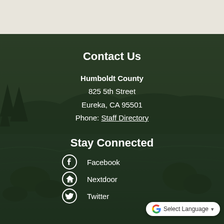[Figure (photo): Coastal landscape with dark green overlay showing rocky shore, ocean waves, and silhouetted trees against a dusky sky — Humboldt County scenic background]
Contact Us
Humboldt County
825 5th Street
Eureka, CA 95501
Phone: Staff Directory
Stay Connected
Facebook
Nextdoor
Twitter
G Select Language